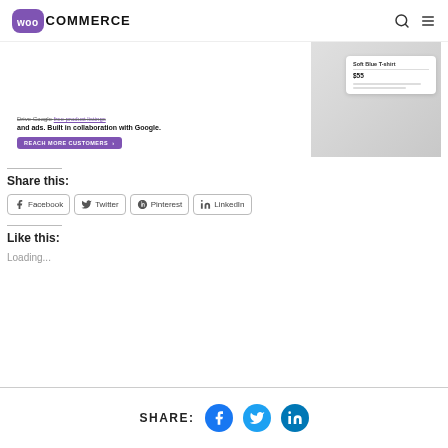WooCommerce
[Figure (screenshot): WooCommerce Google Listings banner showing 'REACH MORE CUSTOMERS' button and a Soft Blue T-shirt product card priced at $55]
Share this:
Facebook  Twitter  Pinterest  LinkedIn
Like this:
Loading...
SHARE:  [Facebook icon]  [Twitter icon]  [LinkedIn icon]